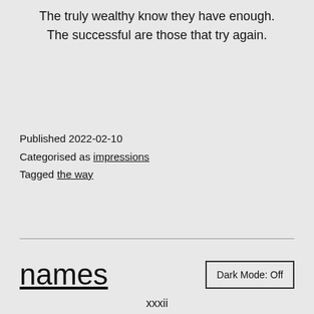The truly wealthy know they have enough.
The successful are those that try again.
Published 2022-02-10
Categorised as impressions
Tagged the way
names
Dark Mode: Off
xxxii